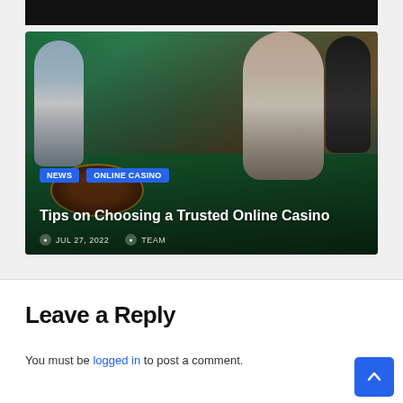[Figure (photo): Black bar at top of page, partial cropped image]
[Figure (photo): Casino article card with live dealer roulette table photo, showing a smiling blonde dealer and roulette table in a live casino setting]
NEWS  ONLINE CASINO
Tips on Choosing a Trusted Online Casino
JUL 27, 2022   TEAM
Leave a Reply
You must be logged in to post a comment.